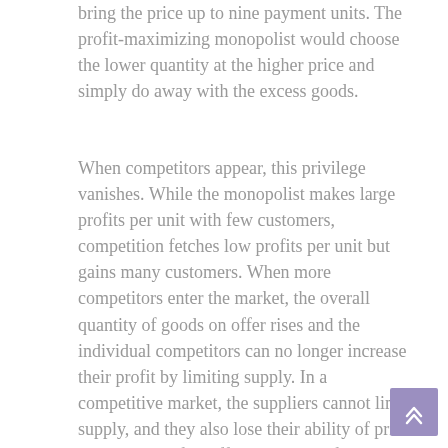bring the price up to nine payment units. The profit-maximizing monopolist would choose the lower quantity at the higher price and simply do away with the excess goods.
When competitors appear, this privilege vanishes. While the monopolist makes large profits per unit with few customers, competition fetches low profits per unit but gains many customers. When more competitors enter the market, the overall quantity of goods on offer rises and the individual competitors can no longer increase their profit by limiting supply. In a competitive market, the suppliers cannot limit supply, and they also lose their ability of price segmentation for different groups of buyers.